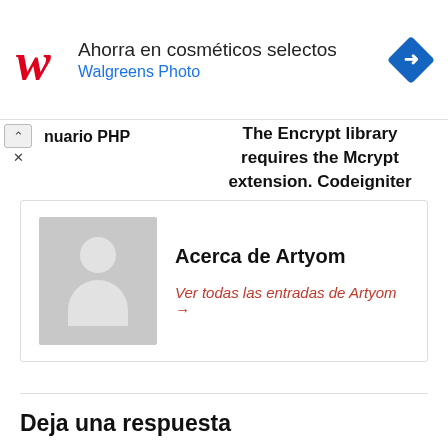[Figure (screenshot): Walgreens ad banner with logo, text 'Ahorra en cosméticos selectos / Walgreens Photo', and navigation arrow icon]
nuario PHP
The Encrypt library requires the Mcrypt extension. Codeigniter
[Figure (illustration): Avatar placeholder - grey square with silhouette of person (head and shoulders)]
Acerca de Artyom
Ver todas las entradas de Artyom →
Deja una respuesta